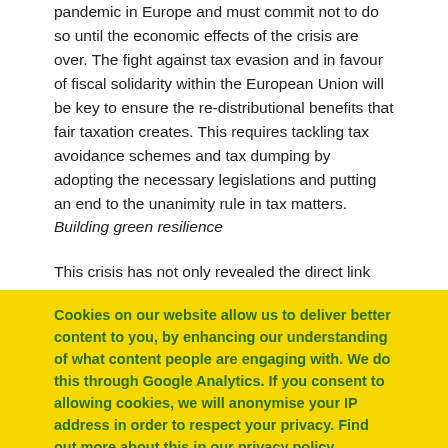pandemic in Europe and must commit not to do so until the economic effects of the crisis are over. The fight against tax evasion and in favour of fiscal solidarity within the European Union will be key to ensure the re-distributional benefits that fair taxation creates. This requires tackling tax avoidance schemes and tax dumping by adopting the necessary legislations and putting an end to the unanimity rule in tax matters.
Building green resilience
This crisis has not only revealed the direct link between the
Cookies on our website allow us to deliver better content to you, by enhancing our understanding of what content people are engaging with. We do this through Google Analytics. If you consent to allowing cookies, we will anonymise your IP address in order to respect your privacy. Find out more about this in our privacy policy (Updated 26 May 2020).